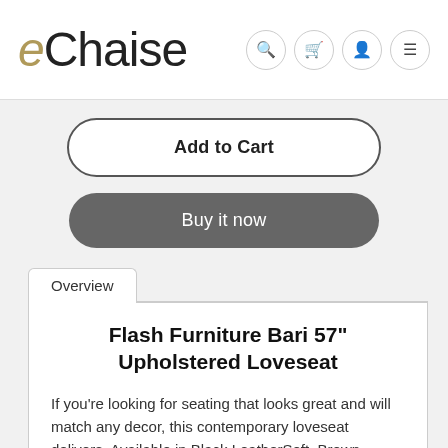eChaise
Add to Cart
Buy it now
Overview
Flash Furniture Bari 57" Upholstered Loveseat
If you're looking for seating that looks great and will match any decor, this contemporary loveseat delivers. Available in Black LeatherSoft, Brown LeatherSoft, or